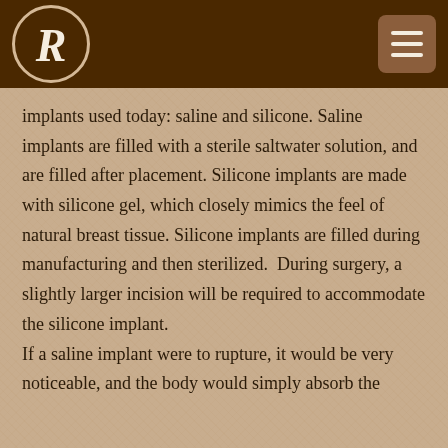[Figure (logo): Decorative cursive R letter inside a circular border on dark brown background, with a hamburger menu button in the top right corner]
implants used today: saline and silicone. Saline implants are filled with a sterile saltwater solution, and are filled after placement. Silicone implants are made with silicone gel, which closely mimics the feel of natural breast tissue. Silicone implants are filled during manufacturing and then sterilized.  During surgery, a slightly larger incision will be required to accommodate the silicone implant.

If a saline implant were to rupture, it would be very noticeable, and the body would simply absorb the